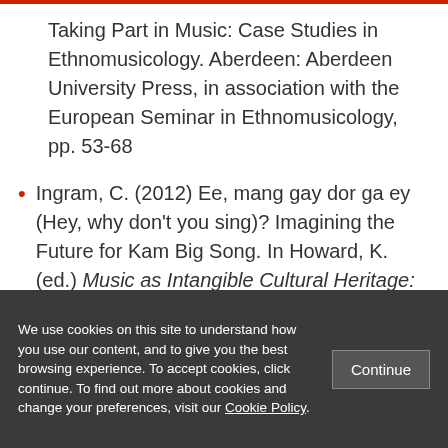Taking Part in Music: Case Studies in Ethnomusicology. Aberdeen: Aberdeen University Press, in association with the European Seminar in Ethnomusicology, pp. 53-68
Ingram, C. (2012) Ee, mang gay dor ga ey (Hey, why don't you sing)? Imagining the Future for Kam Big Song. In Howard, K. (ed.) Music as Intangible Cultural Heritage:
We use cookies on this site to understand how you use our content, and to give you the best browsing experience. To accept cookies, click continue. To find out more about cookies and change your preferences, visit our Cookie Policy.